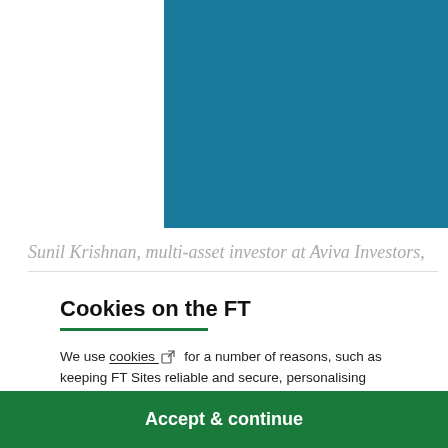[Figure (other): Teal/blue rectangular image block partially visible at top of page]
Sunil Krishnan, multi-asset investor at Aviva Investors,
Cookies on the FT
We use cookies ⧉ for a number of reasons, such as keeping FT Sites reliable and secure, personalising content and ads, providing social media features and to analyse how our Sites are used.
Manage cookies
Accept & continue